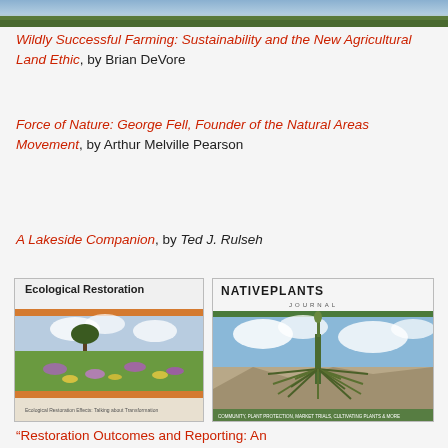[Figure (photo): Top cropped photo of natural landscape (green vegetation/field)]
Wildly Successful Farming: Sustainability and the New Agricultural Land Ethic, by Brian DeVore
Force of Nature: George Fell, Founder of the Natural Areas Movement, by Arthur Melville Pearson
A Lakeside Companion, by Ted J. Rulseh
[Figure (photo): Cover of Ecological Restoration journal showing wildflower meadow with lone tree]
[Figure (photo): Cover of Native Plants Journal showing a large yucca/grass tree plant against blue sky]
“Restoration Outcomes and Reporting: An